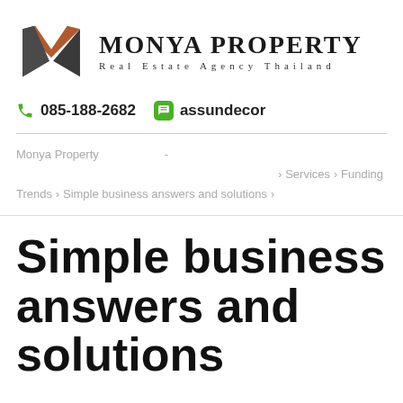[Figure (logo): Monya Property logo with stylized M mark and brand name]
085-188-2682   assundecor
Monya Property  -  > Services > Funding Trends > Simple business answers and solutions >
Simple business answers and solutions